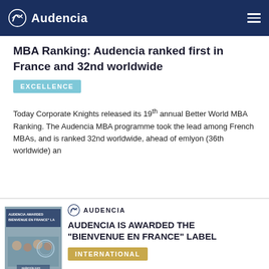Audencia
MBA Ranking: Audencia ranked first in France and 32nd worldwide
EXCELLENCE
Today Corporate Knights released its 19th annual Better World MBA Ranking. The Audencia MBA programme took the lead among French MBAs, and is ranked 32nd worldwide, ahead of emlyon (36th worldwide) an
[Figure (photo): Thumbnail image of Audencia 'Bienvenue en France' label award document with people in background]
AUDENCIA
AUDENCIA IS AWARDED THE "BIENVENUE EN FRANCE" LABEL
INTERNATIONAL
By obtaining the "Bienvenue en France" label from Campus France, Audencia has met the criteria of the label, which is awarded based on: The quality and